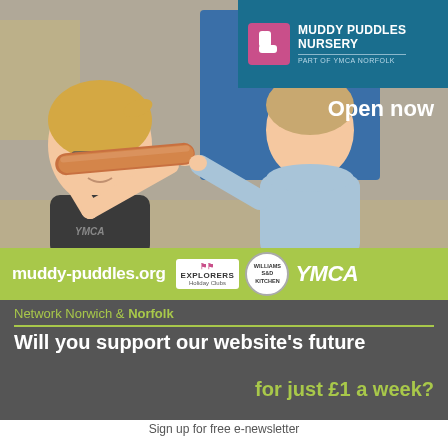[Figure (photo): Photo of a female YMCA worker wearing glasses and a dark t-shirt, and a young child in a light blue hoodie, both looking through a cardboard tube at each other. Indoor classroom/nursery setting with blue boards in background.]
[Figure (logo): Muddy Puddles Nursery logo: pink boot icon on dark teal background, white text reading MUDDY PUDDLES NURSERY, PART OF YMCA NORFOLK]
Open now
[Figure (infographic): Green bar with white text muddy-puddles.org, Explorers Holiday Clubs logo, Williams Sky Kitchen circular badge logo, YMCA logo in white italic]
muddy-puddles.org
Network Norwich & Norfolk
Will you support our website's future for just £1 a week?
Sign up for free e-newsletter